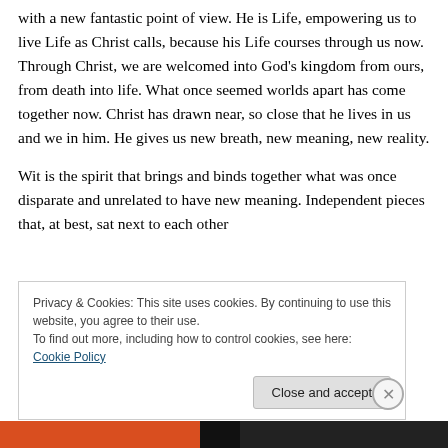with a new fantastic point of view. He is Life, empowering us to live Life as Christ calls, because his Life courses through us now. Through Christ, we are welcomed into God's kingdom from ours, from death into life. What once seemed worlds apart has come together now. Christ has drawn near, so close that he lives in us and we in him. He gives us new breath, new meaning, new reality.
Wit is the spirit that brings and binds together what was once disparate and unrelated to have new meaning. Independent pieces that, at best, sat next to each other
Privacy & Cookies: This site uses cookies. By continuing to use this website, you agree to their use.
To find out more, including how to control cookies, see here: Cookie Policy
Close and accept